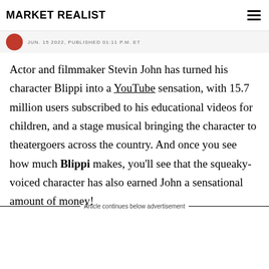MARKET REALIST
JUN. 15 2022, PUBLISHED 01:11 P.M. ET
Actor and filmmaker Stevin John has turned his character Blippi into a YouTube sensation, with 15.7 million users subscribed to his educational videos for children, and a stage musical bringing the character to theatergoers across the country. And once you see how much Blippi makes, you'll see that the squeaky-voiced character has also earned John a sensational amount of money!
Article continues below advertisement